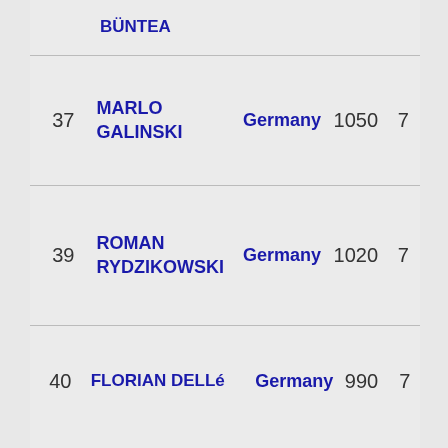| Rank | Name | Country | Points | Events |
| --- | --- | --- | --- | --- |
| 37 | MARLO GALINSKI | Germany | 1050 | 7 |
| 39 | ROMAN RYDZIKOWSKI | Germany | 1020 | 7 |
| 40 | FLORIAN DELLé | Germany | 990 | 7 |